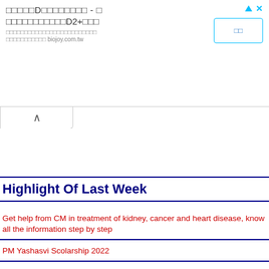[Figure (other): Advertisement banner with Chinese/Japanese text and biojoy.com.tw domain, with a blue-bordered button and close/triangle icons]
Highlight Of Last Week
Get help from CM in treatment of kidney, cancer and heart disease, know all the information step by step
PM Yashasvi Scolarship 2022
Food corporation of india Recruitment 2022
Pradhan mantri Awas Yojana(Urban)
Google Translate